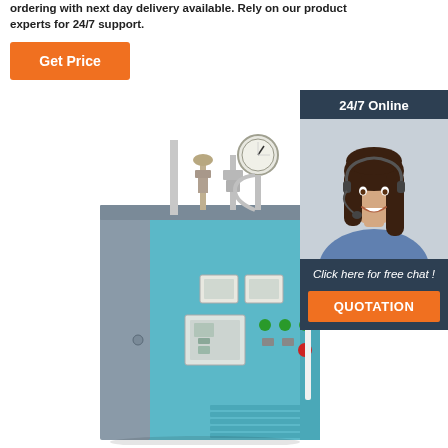ordering with next day delivery available. Rely on our product experts for 24/7 support.
[Figure (other): Orange 'Get Price' button]
[Figure (photo): Industrial electric steam boiler with blue cabinet, gauges, valves, and control panel]
[Figure (infographic): 24/7 Online chat widget with photo of female customer service representative wearing headset, 'Click here for free chat!' text, and orange QUOTATION button]